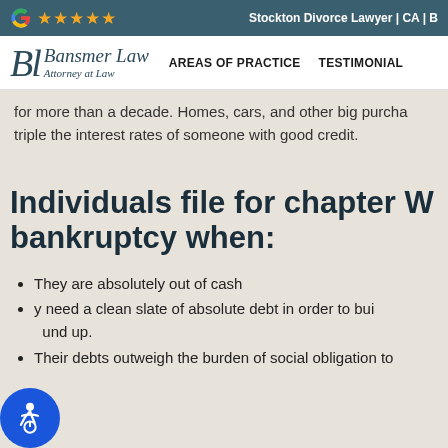Stockton Divorce Lawyer | CA | B
[Figure (logo): Bansmer Law Attorney at Law logo with Google 4-star rating]
for more than a decade. Homes, cars, and other big purcha triple the interest rates of someone with good credit.
Individuals file for chapter bankruptcy when:
They are absolutely out of cash
need a clean slate of absolute debt in order to build up.
Their debts outweigh the burden of social obligation to